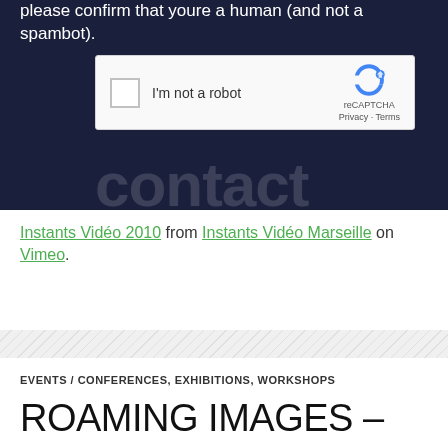[Figure (screenshot): Dark navy background section showing a reCAPTCHA widget with checkbox labeled 'I'm not a robot', reCAPTCHA logo, Privacy and Terms links, and faint watermark text below]
Instants Vidéo 2010 from Instants Vidéo Marseille on Vimeo.
[Figure (other): Diagonal hatching stripe divider]
EVENTS / CONFERENCES, EXHIBITIONS, WORKSHOPS
ROAMING IMAGES –